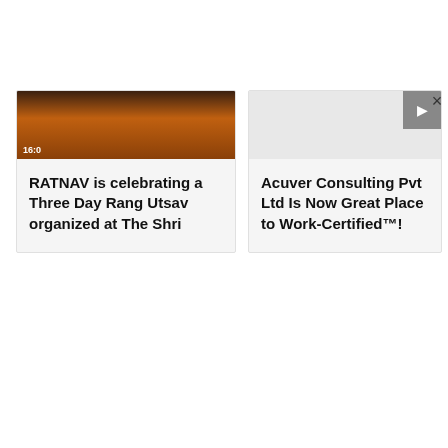[Figure (screenshot): Partial image of an event with dark and orange tones, showing a timestamp '16:0' in bottom-left]
RATNAV is celebrating a Three Day Rang Utsav organized at The Shri
[Figure (screenshot): Light gray card image area with a dark gray arrow button in top-right corner and a close (×) button to the right]
Acuver Consulting Pvt Ltd Is Now Great Place to Work-Certified™!